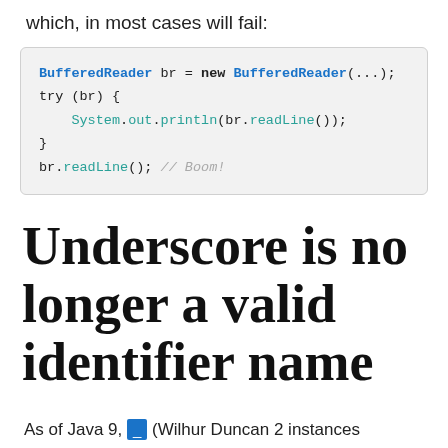which, in most cases will fail:
BufferedReader br = new BufferedReader(...);
try (br) {
    System.out.println(br.readLine());
}
br.readLine(); // Boom!
Underscore is no longer a valid identifier name
As of Java 9, _ (Wilhur Duncan 2 instances